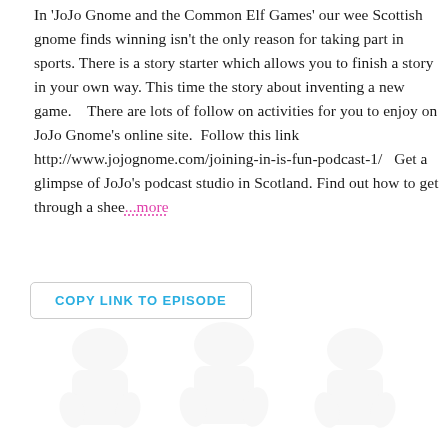In 'JoJo Gnome and the Common Elf Games' our wee Scottish gnome finds winning isn't the only reason for taking part in sports. There is a story starter which allows you to finish a story in your own way. This time the story about inventing a new game.   There are lots of follow on activities for you to enjoy on JoJo Gnome's online site.  Follow this link http://www.jojognome.com/joining-in-is-fun-podcast-1/  Get a glimpse of JoJo's podcast studio in Scotland. Find out how to get through a shee...more
COPY LINK TO EPISODE